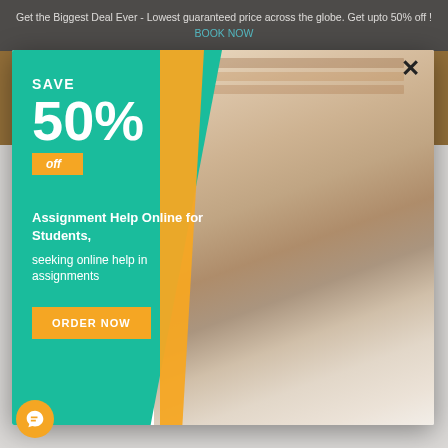Get the Biggest Deal Ever - Lowest guaranteed price across the globe. Get upto 50% off ! BOOK NOW
🇦🇺 +61-4-8002-4016    ✉ info@myassignmentmart.com
PAY NOW
[Figure (infographic): Modal popup advertisement for assignment help service. Teal and orange diagonal design on left side. Text: SAVE 50% off. Assignment Help Online for Students, seeking online help in assignments. ORDER NOW button. Right side shows photo of two female students studying together at a library.]
SAVE
50%
off
Assignment Help Online for Students, seeking online help in assignments
ORDER NOW